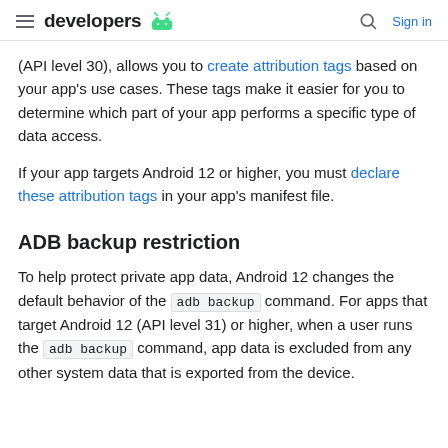developers
(API level 30), allows you to create attribution tags based on your app's use cases. These tags make it easier for you to determine which part of your app performs a specific type of data access.
If your app targets Android 12 or higher, you must declare these attribution tags in your app's manifest file.
ADB backup restriction
To help protect private app data, Android 12 changes the default behavior of the adb backup command. For apps that target Android 12 (API level 31) or higher, when a user runs the adb backup command, app data is excluded from any other system data that is exported from the device.